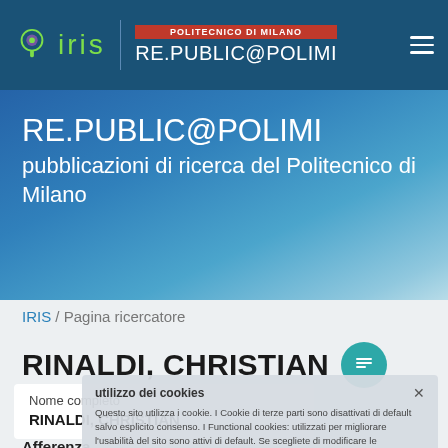IRIS | POLITECNICO DI MILANO RE.PUBLIC@POLIMI
RE.PUBLIC@POLIMI
pubblicazioni di ricerca del Politecnico di Milano
IRIS / Pagina ricercatore
RINALDI, CHRISTIAN
utilizzo dei cookies
Questo sito utilizza i cookie. I Cookie di terze parti sono disattivati di default salvo esplicito consenso. I Functional cookies: utilizzati per migliorare l'usabilità del sito sono attivi di default. Se scegliete di modificare le impostazioni sui cookie, vi preghiamo di cambiare le impostazioni attuali tramite l'apposita interfaccia presente in questa pagina: Utilizzo dei cookie.
Nome completo
RINALDI, CHRISTIAN
Afferenza